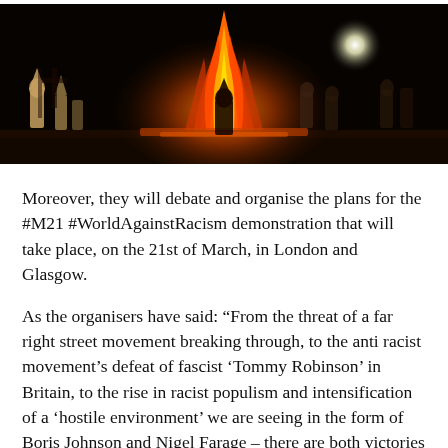[Figure (photo): Nighttime photograph showing figures in robes around a large bonfire or burning cross, dark background with orange flames and a bright light source on the right side]
Moreover, they will debate and organise the plans for the #M21 #WorldAgainstRacism demonstration that will take place, on the 21st of March, in London and Glasgow.
As the organisers have said: “From the threat of a far right street movement breaking through, to the anti racist movement’s defeat of fascist ‘Tommy Robinson’ in Britain, to the rise in racist populism and intensification of a ‘hostile environment’ we are seeing in the form of Boris Johnson and Nigel Farage – there are both victories to discuss, as well as major challenges now facing the anti racist movement.”